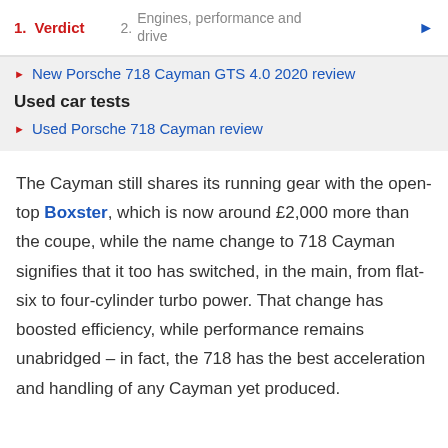1. Verdict  2. Engines, performance and drive
New Porsche 718 Cayman GTS 4.0 2020 review
Used car tests
Used Porsche 718 Cayman review
The Cayman still shares its running gear with the open-top Boxster, which is now around £2,000 more than the coupe, while the name change to 718 Cayman signifies that it too has switched, in the main, from flat-six to four-cylinder turbo power. That change has boosted efficiency, while performance remains unabridged – in fact, the 718 has the best acceleration and handling of any Cayman yet produced.